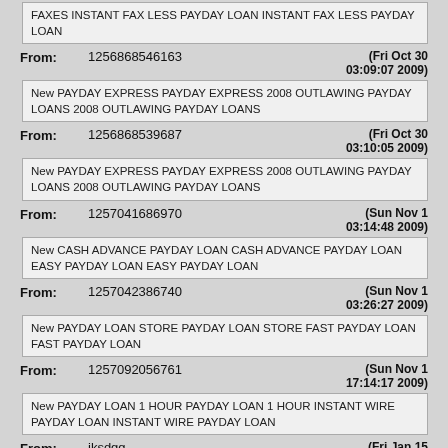FAXES INSTANT FAX LESS PAYDAY LOAN INSTANT FAX LESS PAYDAY LOAN
From: 1256868546163 (Fri Oct 30 03:09:07 2009)
New PAYDAY EXPRESS PAYDAY EXPRESS 2008 OUTLAWING PAYDAY LOANS 2008 OUTLAWING PAYDAY LOANS
From: 1256868539687 (Fri Oct 30 03:10:05 2009)
New PAYDAY EXPRESS PAYDAY EXPRESS 2008 OUTLAWING PAYDAY LOANS 2008 OUTLAWING PAYDAY LOANS
From: 1257041686970 (Sun Nov 1 03:14:48 2009)
New CASH ADVANCE PAYDAY LOAN CASH ADVANCE PAYDAY LOAN EASY PAYDAY LOAN EASY PAYDAY LOAN
From: 1257042386740 (Sun Nov 1 03:26:27 2009)
New PAYDAY LOAN STORE PAYDAY LOAN STORE FAST PAYDAY LOAN FAST PAYDAY LOAN
From: 1257092056761 (Sun Nov 1 17:14:17 2009)
New PAYDAY LOAN 1 HOUR PAYDAY LOAN 1 HOUR INSTANT WIRE PAYDAY LOAN INSTANT WIRE PAYDAY LOAN
From: jksdgg (Fri Jan 15 09:26:38 2010)
If you were looking for men's gucci shoes you have come to the right place!

We have designer Gucci Replica handbags in our catalogue. View our range of gucci handbags now.
From: Free online dating for Afghan women and Albanian women (Sat Jun 19 02:00:26 2010)
Afghan women and Albanian women seeking free online dating
From: football (Fri Feb 4 19:03:12 2011)